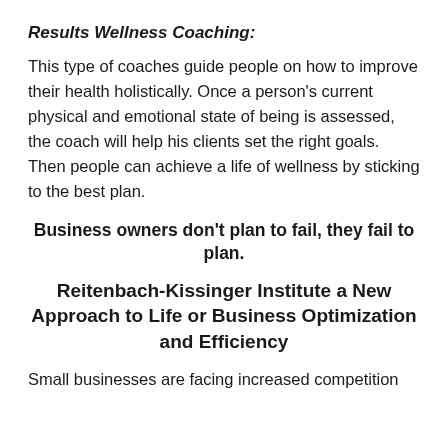Results Wellness Coaching:
This type of coaches guide people on how to improve their health holistically. Once a person’s current physical and emotional state of being is assessed, the coach will help his clients set the right goals. Then people can achieve a life of wellness by sticking to the best plan.
Business owners don’t plan to fail, they fail to plan.
Reitenbach-Kissinger Institute a New Approach to Life or Business Optimization and Efficiency
Small businesses are facing increased competition